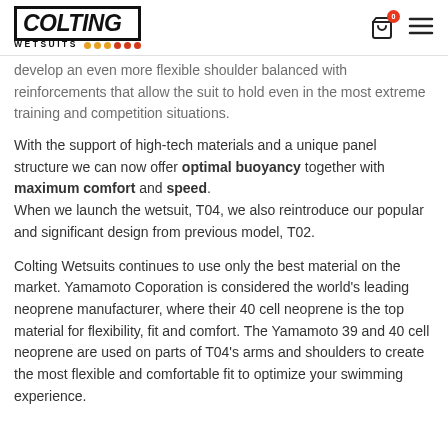COLTING WETSUITS
develop an even more flexible shoulder balanced with reinforcements that allow the suit to hold even in the most extreme training and competition situations.
With the support of high-tech materials and a unique panel structure we can now offer optimal buoyancy together with maximum comfort and speed.
When we launch the wetsuit, T04, we also reintroduce our popular and significant design from previous model, T02.
Colting Wetsuits continues to use only the best material on the market. Yamamoto Coporation is considered the world's leading neoprene manufacturer, where their 40 cell neoprene is the top material for flexibility, fit and comfort. The Yamamoto 39 and 40 cell neoprene are used on parts of T04's arms and shoulders to create the most flexible and comfortable fit to optimize your swimming experience.